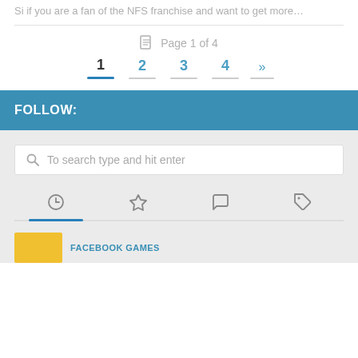Si if you are a fan of the NFS franchise and want to get more…
Page 1 of 4
1  2  3  4  »
FOLLOW:
To search type and hit enter
FACEBOOK GAMES